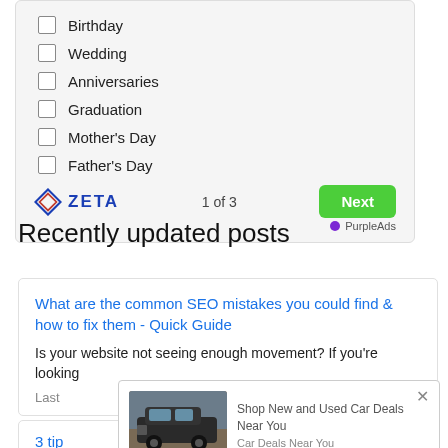[Figure (screenshot): Survey widget with checkboxes for Birthday, Wedding, Anniversaries, Graduation, Mother's Day, Father's Day. Footer shows Zeta logo, '1 of 3', and a green Next button. PurpleAds label at bottom right.]
Recently updated posts
What are the common SEO mistakes you could find & how to fix them - Quick Guide
Is your website not seeing enough movement? If you're looking
Last
[Figure (screenshot): Ad popup overlay showing a dark SUV vehicle image, text 'Shop New and Used Car Deals Near You', subtext 'Car Deals Near You', PurpleAds label, and a close X button.]
3 tips ... Channel